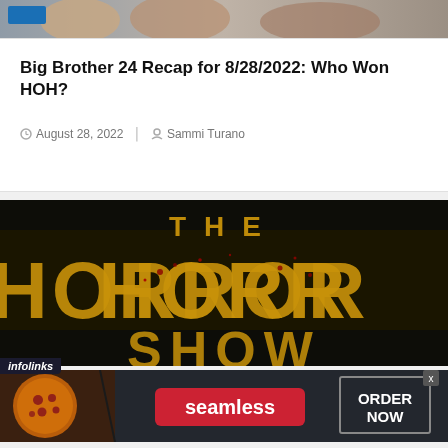[Figure (photo): Top partial image showing people, partially cropped, with a blue bar/logo element visible at top left]
Big Brother 24 Recap for 8/28/2022: Who Won HOH?
August 28, 2022   Sammi Turano
[Figure (photo): The Horror Show title card with large yellow distressed letters on dark background with blood splatter effects]
[Figure (photo): Seamless food delivery advertisement showing pizza image, Seamless red button logo, and ORDER NOW button with infolinks label]